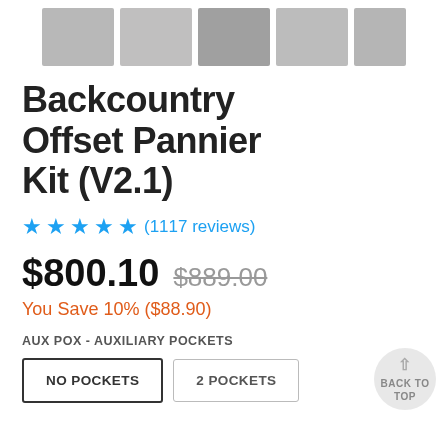[Figure (photo): Row of blurred product thumbnail images]
Backcountry Offset Pannier Kit (V2.1)
★★★★★ (1117 reviews)
$800.10  $889.00
You Save 10% ($88.90)
AUX POX - AUXILIARY POCKETS
NO POCKETS   2 POCKETS